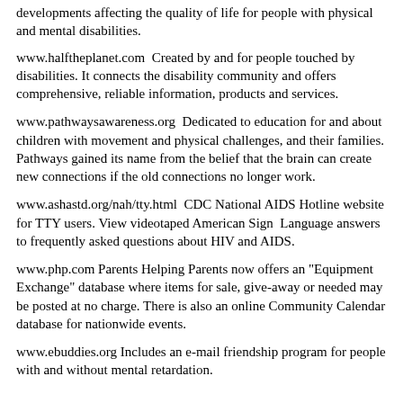developments affecting the quality of life for people with physical and mental disabilities.
www.halftheplanet.com  Created by and for people touched by disabilities. It connects the disability community and offers comprehensive, reliable information, products and services.
www.pathwaysawareness.org  Dedicated to education for and about children with movement and physical challenges, and their families. Pathways gained its name from the belief that the brain can create new connections if the old connections no longer work.
www.ashastd.org/nah/tty.html  CDC National AIDS Hotline website for TTY users. View videotaped American Sign  Language answers to frequently asked questions about HIV and AIDS.
www.php.com Parents Helping Parents now offers an "Equipment Exchange" database where items for sale, give-away or needed may be posted at no charge. There is also an online Community Calendar database for nationwide events.
www.ebuddies.org Includes an e-mail friendship program for people with and without mental retardation.